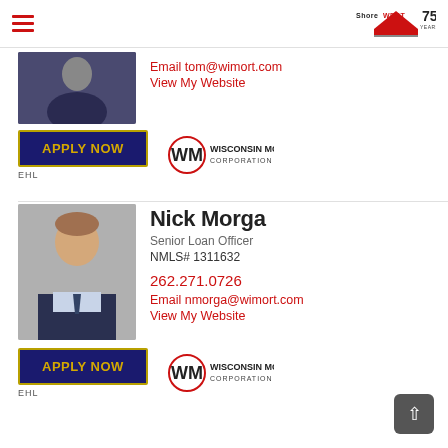ShoreWest 75 Years
Email tom@wimort.com
View My Website
[Figure (logo): Apply Now button with EHL label and Wisconsin Mortgage Corporation logo]
Nick Morga
Senior Loan Officer
NMLS# 1311632
262.271.0726
Email nmorga@wimort.com
View My Website
[Figure (logo): Apply Now button with EHL label and Wisconsin Mortgage Corporation logo]